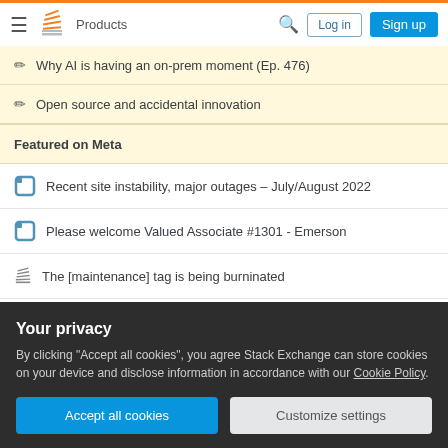Products | Log in | Sign up
Why AI is having an on-prem moment (Ep. 476)
Open source and accidental innovation
Featured on Meta
Recent site instability, major outages – July/August 2022
Please welcome Valued Associate #1301 - Emerson
The [maintenance] tag is being burninated
Staging Ground Workflow: Question Lifecycle
Your privacy
By clicking "Accept all cookies", you agree Stack Exchange can store cookies on your device and disclose information in accordance with our Cookie Policy.
Accept all cookies | Customize settings